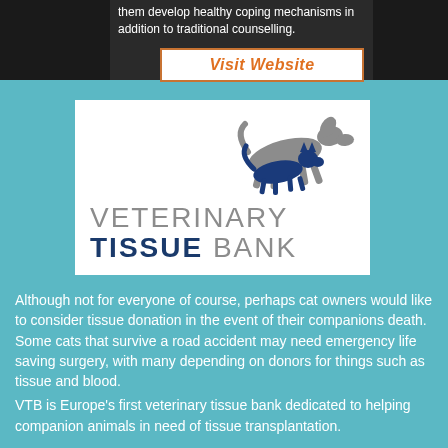them develop healthy coping mechanisms in addition to traditional counselling.
Visit Website
[Figure (logo): Veterinary Tissue Bank logo with a grey dog silhouette and a blue cat silhouette above the text 'VETERINARY TISSUE BANK']
Although not for everyone of course, perhaps cat owners would like to consider tissue donation in the event of their companions death. Some cats that survive a road accident may need emergency life saving surgery, with many depending on donors for things such as tissue and blood.
VTB is Europe's first veterinary tissue bank dedicated to helping companion animals in need of tissue transplantation.